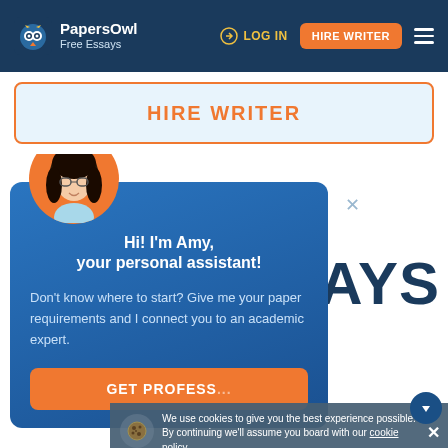PapersOwl Free Essays | LOG IN | HIRE WRITER
HIRE WRITER
[Figure (illustration): Amy chatbot popup with avatar of a young woman with glasses and dark hair on orange circle background. Popup on dark blue background showing greeting message and call-to-action button.]
Hi! I'm Amy, your personal assistant!
Don't know where to start? Give me your paper requirements and I connect you to an academic expert.
GET PROFESS...
SSAYS
We use cookies to give you the best experience possible. By continuing we'll assume you board with our cookie policy.